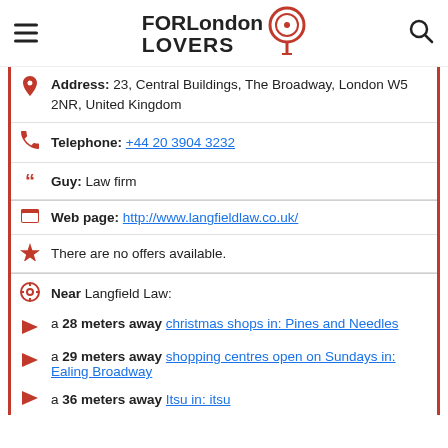FOR London LOVERS
Address: 23, Central Buildings, The Broadway, London W5 2NR, United Kingdom
Telephone: +44 20 3904 3232
Guy: Law firm
Web page: http://www.langfieldlaw.co.uk/
There are no offers available.
Near Langfield Law:
a 28 meters away christmas shops in: Pines and Needles
a 29 meters away shopping centres open on Sundays in: Ealing Broadway
a 36 meters away Itsu in: itsu